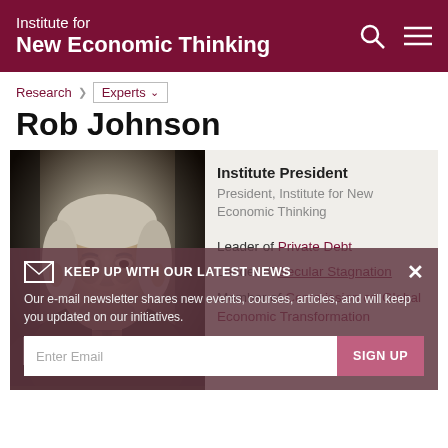Institute for New Economic Thinking
Research > Experts
Rob Johnson
[Figure (photo): Black and white portrait photo of Rob Johnson, a middle-aged man with grey hair wearing a dark suit and tie]
Institute President
President, Institute for New Economic Thinking
Leader of Private Debt
Leader of Secular Stagnation
Member of Commission on Global Economic Transformation
Twitter
KEEP UP WITH OUR LATEST NEWS
Our e-mail newsletter shares new events, courses, articles, and will keep you updated on our initiatives.